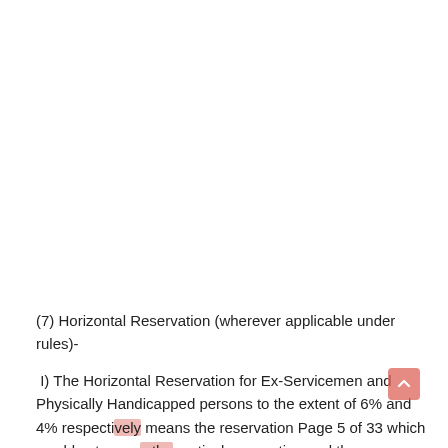(7) Horizontal Reservation (wherever applicable under rules)-
I) The Horizontal Reservation for Ex-Servicemen and Physically Handicapped persons to the extent of 6% and 4% respectively means the reservation Page 5 of 33 which would cut across the vertical reservation and the persons selected shall have to be